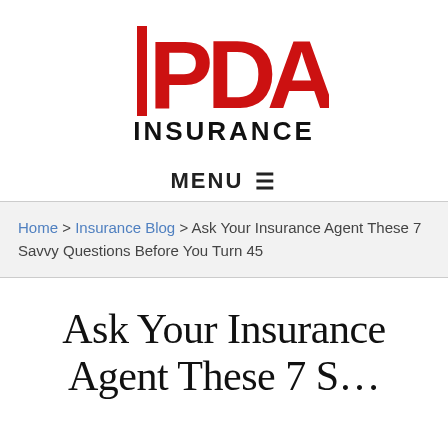[Figure (logo): PDA Insurance logo — large red letters PDA with a vertical red bar on the left, bold black INSURANCE text below]
MENU ☰
Home > Insurance Blog > Ask Your Insurance Agent These 7 Savvy Questions Before You Turn 45
Ask Your Insurance Agent These 7 S…